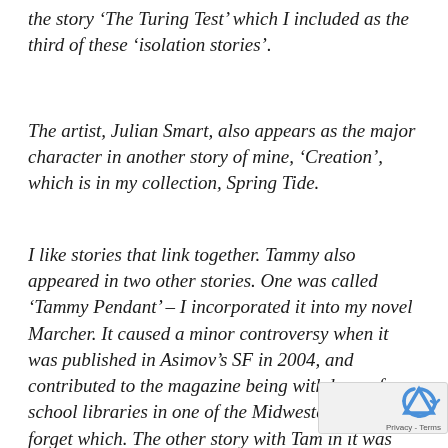the story 'The Turing Test' which I included as the third of these 'isolation stories'.
The artist, Julian Smart, also appears as the major character in another story of mine, 'Creation', which is in my collection, Spring Tide.
I like stories that link together. Tammy also appeared in two other stories. One was called 'Tammy Pendant' – I incorporated it into my novel Marcher. It caused a minor controversy when it was published in Asimov's SF in 2004, and contributed to the magazine being withdrawn from school libraries in one of the Midwestern states, I forget which. The other story with Tam in it was called 'Poppyfields' and is included in ...